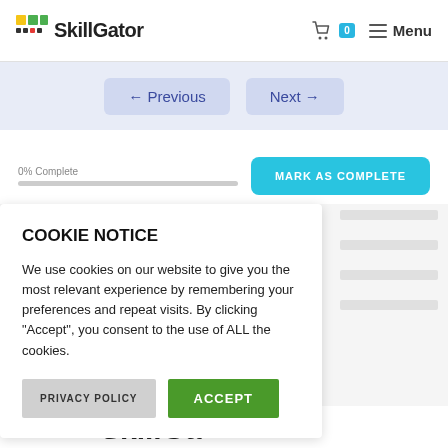SkillGator — Menu (header with logo, cart, and menu button)
← Previous   Next →
0% Complete
MARK AS COMPLETE
COOKIE NOTICE
We use cookies on our website to give you the most relevant experience by remembering your preferences and repeat visits. By clicking "Accept", you consent to the use of ALL the cookies.
PRIVACY POLICY   ACCEPT